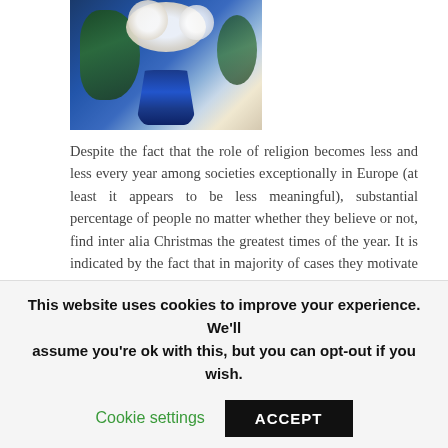[Figure (photo): Photo of white flowers in a blue vase with green foliage against a blue-lit background]
Despite the fact that the role of religion becomes less and less every year among societies exceptionally in Europe (at least it appears to be less meaningful), substantial percentage of people no matter whether they believe or not, find inter alia Christmas the greatest times of the year. It is indicated by the fact that in majority of cases they motivate ourselves to improve something in our life as well as in our attitude.
Tagged: christmas, elements, home, house, products
This website uses cookies to improve your experience. We'll assume you're ok with this, but you can opt-out if you wish.
Cookie settings
ACCEPT